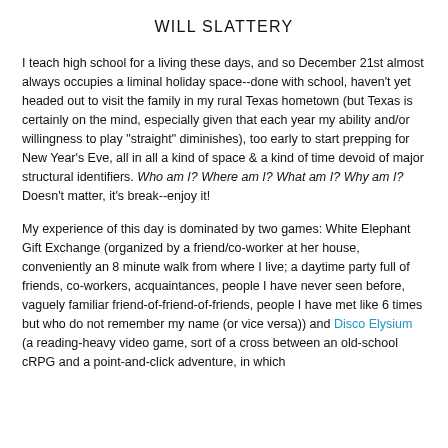WILL SLATTERY
I teach high school for a living these days, and so December 21st almost always occupies a liminal holiday space--done with school, haven't yet headed out to visit the family in my rural Texas hometown (but Texas is certainly on the mind, especially given that each year my ability and/or willingness to play "straight" diminishes), too early to start prepping for New Year's Eve, all in all a kind of space & a kind of time devoid of major structural identifiers. Who am I? Where am I? What am I? Why am I?  Doesn't matter, it's break--enjoy it!
My experience of this day is dominated by two games: White Elephant Gift Exchange (organized by a friend/co-worker at her house, conveniently an 8 minute walk from where I live; a daytime party full of friends, co-workers, acquaintances, people I have never seen before, vaguely familiar friend-of-friend-of-friends, people I have met like 6 times but who do not remember my name (or vice versa)) and Disco Elysium (a reading-heavy video game, sort of a cross between an old-school cRPG and a point-and-click adventure, in which